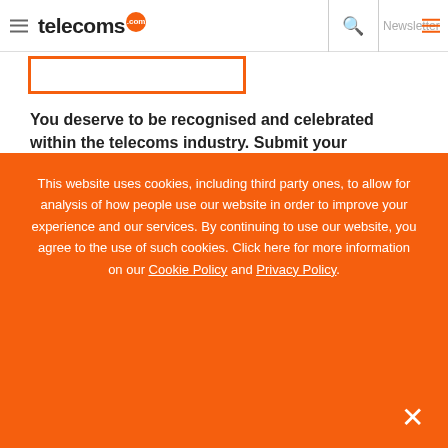telecoms.com | Newsletter
You deserve to be recognised and celebrated within the telecoms industry. Submit your nomination for the Glotel awa h https://t.co/4yPQXjosXx
28 August 2022 @ 14:01:36 UTC
Singtel sells US$1.6 billion Bharti stake to fund 5G. Singtel
This website uses cookies, including third party ones, to allow for analysis of how people use our website in order to improve your experience and our services. By continuing to use our website, you agree to the use of such cookies. Click here for more information on our Cookie Policy and Privacy Policy.